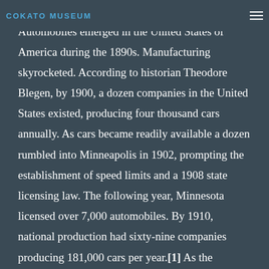COKATO MUSEUM
closely with its introduction to Minnesota. Automobiles emerged in the United States of America during the 1890s. Manufacturing skyrocketed. According to historian Theodore Blegen, by 1900, a dozen companies in the United States existed, producing four thousand cars annually. As cars became readily available a dozen rumbled into Minneapolis in 1902, prompting the establishment of speed limits and a 1908 state licensing law. The following year, Minnesota licensed over 7,000 automobiles. By 1910, national production had sixty-nine companies producing 181,000 cars per year.[1] As the automobile industry grew in popularity, small towns snatched up the new